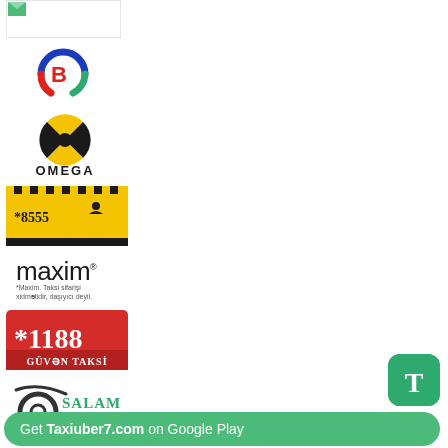[Figure (logo): Green and white square logo (possibly Uber or app store icon)]
[Figure (logo): B-Taxi logo with red B inside blue/red circular arrows and green checkmark]
[Figure (logo): Omega Taxi logo with black/yellow pinwheel symbol and OMEGA text]
[Figure (logo): Aile Taxi *8555 logo, yellow background with taxi checker pattern, Azerbaijani text]
[Figure (logo): maxim taxi logo in dark lowercase letters with tagline in Azerbaijani]
[Figure (logo): *1188 Güvən Taksi logo, red background with white text]
[Figure (logo): Salam Taksi logo with tire/wheel graphic and green text]
Get Taxiuber7.com on Google Play